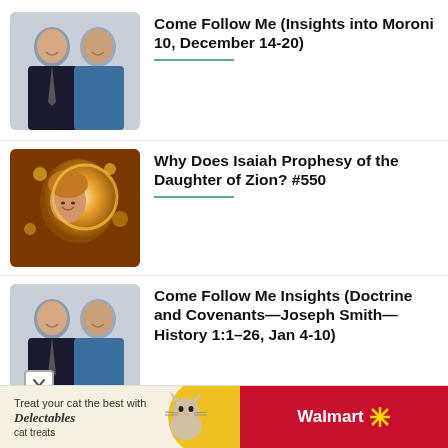[Figure (photo): Two men in dark suits standing together, the left man in a tie, right man in a blue shirt]
Come Follow Me (Insights into Moroni 10, December 14-20)
[Figure (illustration): Artistic golden painting of a woman with glowing halo surrounded by golden light and flowers]
Why Does Isaiah Prophesy of the Daughter of Zion? #550
[Figure (photo): Two men in dark suits standing together, same as first entry]
Come Follow Me Insights (Doctrine and Covenants—Joseph Smith—History 1:1–26, Jan 4-10)
[Figure (other): Advertisement banner: Treat your cat the best with Delectables cat treats, featuring a cat image and Walmart branding]